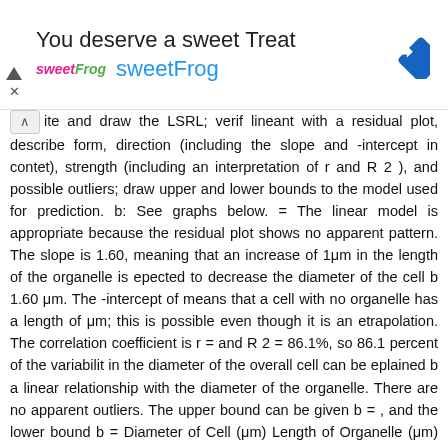[Figure (other): Advertisement banner for sweetFrog frozen yogurt: 'You deserve a sweet Treat' with sweetFrog logo and navigation arrow icon]
ite and draw the LSRL; verif lineant with a residual plot, describe form, direction (including the slope and -intercept in contet), strength (including an interpretation of r and R 2 ), and possible outliers; draw upper and lower bounds to the model used for prediction. b: See graphs below. = The linear model is appropriate because the residual plot shows no apparent pattern. The slope is 1.60, meaning that an increase of 1μm in the length of the organelle is epected to decrease the diameter of the cell b 1.60 μm. The -intercept of means that a cell with no organelle has a length of μm; this is possible even though it is an etrapolation. The correlation coefficient is r = and R 2 = 86.1%, so 86.1 percent of the variabilit in the diameter of the overall cell can be eplained b a linear relationship with the diameter of the organelle. There are no apparent outliers. The upper bound can be given b = , and the lower bound b = Diameter of Cell (μm) Length of Organelle (μm) Residuals (μm) Length of Organelle (μm) Technicall,